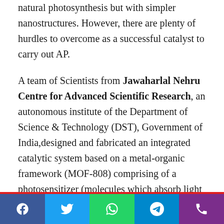natural photosynthesis but with simpler nanostructures. However, there are plenty of hurdles to overcome as a successful catalyst to carry out AP.
A team of Scientists from Jawaharlal Nehru Centre for Advanced Scientific Research, an autonomous institute of the Department of Science & Technology (DST), Government of India,designed and fabricated an integrated catalytic system based on a metal-organic framework (MOF-808) comprising of a photosensitizer (molecules which absorb light and transfer the electron from the incident light into another nearby molecule) that can harness solar power and a catalytic centre that can eventually reduce CO2. The work described above has been accepted for publication in the journal 'Energy & Environmental Science' of Royal Society of